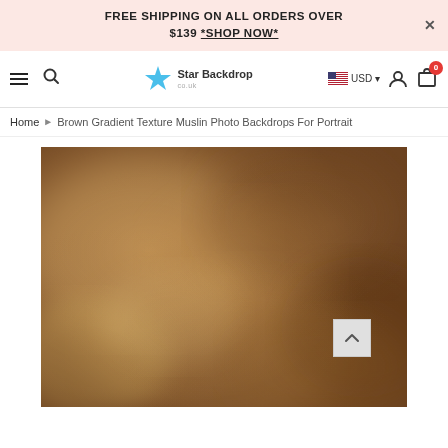FREE SHIPPING ON ALL ORDERS OVER $139 *SHOP NOW*
[Figure (screenshot): Navigation bar with hamburger menu, search icon, Star Backdrop logo, US flag with USD currency selector, user account icon, and cart icon with 0 badge]
Home > Brown Gradient Texture Muslin Photo Backdrops For Portrait
[Figure (photo): Brown gradient texture muslin photo backdrop product image showing a mottled brown fabric texture with lighter and darker areas throughout]